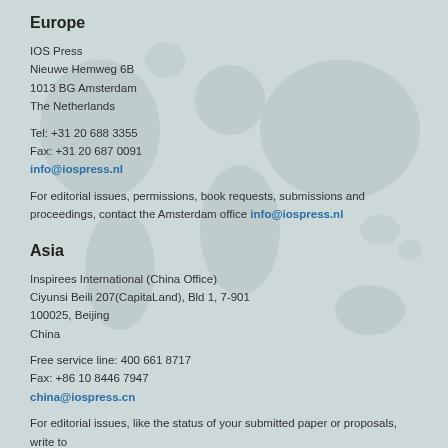Europe
IOS Press
Nieuwe Hemweg 6B
1013 BG Amsterdam
The Netherlands
Tel: +31 20 688 3355
Fax: +31 20 687 0091
info@iospress.nl
For editorial issues, permissions, book requests, submissions and proceedings, contact the Amsterdam office info@iospress.nl
Asia
Inspirees International (China Office)
Ciyunsi Beili 207(CapitaLand), Bld 1, 7-901
100025, Beijing
China
Free service line: 400 661 8717
Fax: +86 10 8446 7947
china@iospress.cn
For editorial issues, like the status of your submitted paper or proposals, write to editorial@iospress.nl
⊠⊠⊠⊠⊠⊠⊠⊠⊠⊠⊠⊠⊠⊠⊠⊠, ⊠⊠: editorial@iospress.nl